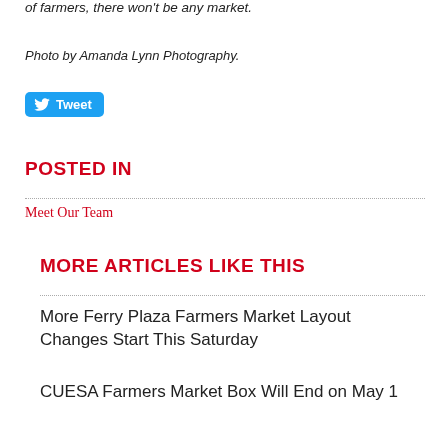of farmers, there won't be any market.
Photo by Amanda Lynn Photography.
[Figure (other): Twitter Tweet button with bird icon]
POSTED IN
Meet Our Team
MORE ARTICLES LIKE THIS
More Ferry Plaza Farmers Market Layout Changes Start This Saturday
CUESA Farmers Market Box Will End on May 1